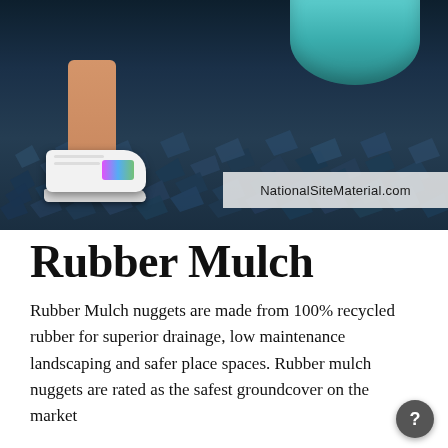[Figure (photo): Photo of a child's foot in a white sneaker with colorful stripes standing on dark blue/black rubber mulch pieces. A teal/turquoise rounded object is visible in the upper right. A watermark banner reads 'NationalSiteMaterial.com'.]
Rubber Mulch
Rubber Mulch nuggets are made from 100% recycled rubber for superior drainage, low maintenance landscaping and safer place spaces. Rubber mulch nuggets are rated as the safest groundcover on the market